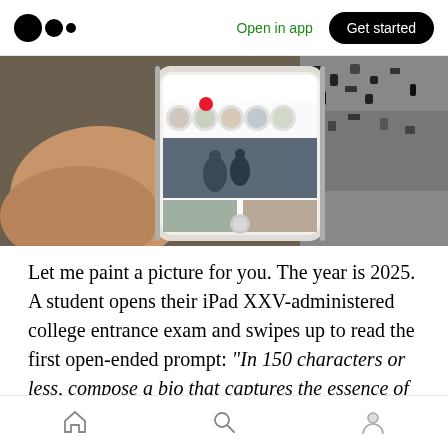Open in app | Get started
[Figure (photo): Person holding a smartphone displaying an Instagram-like social media app with profile photos and posts]
Let me paint a picture for you. The year is 2025. A student opens their iPad XXV-administered college entrance exam and swipes up to read the first open-ended prompt: “In 150 characters or less, compose a bio that captures the essence of your personal brand. Note: Emojis and hashtags factor
Home | Search | Profile